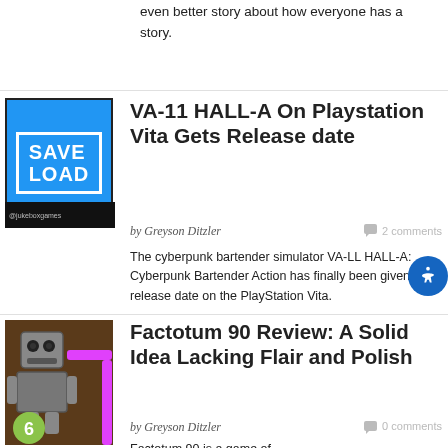even better story about how everyone has a story.
[Figure (screenshot): Blue app screenshot thumbnail with SAVE LOAD text in white on blue background, with black bottom bar]
VA-11 HALL-A On Playstation Vita Gets Release date
by Greyson Ditzler
2 comments
The cyberpunk bartender simulator VA-LL HALL-A: Cyberpunk Bartender Action has finally been given a release date on the PlayStation Vita.
[Figure (screenshot): Game screenshot thumbnail showing a robot character with pink pipes and a green badge with number 6]
Factotum 90 Review: A Solid Idea Lacking Flair and Polish
by Greyson Ditzler
0 comments
Factotum 90 is a game of...